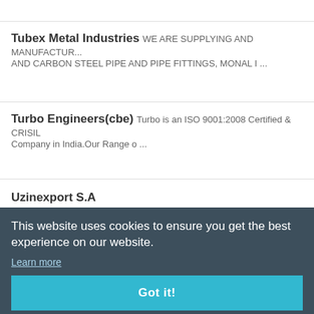Tubex Metal Industries WE ARE SUPPLYING AND MANUFACTURING AND CARBON STEEL PIPE AND PIPE FITTINGS, MONAL I ...
Turbo Engineers(cbe) Turbo is an ISO 9001:2008 Certified & CRISIL Company in India.Our Range o ...
Uzinexport S.A
Walchandnagar Industries Ltd
This website uses cookies to ensure you get the best experience on our website.
Learn more
Got it!
CemNet.com Sitemap
Magazine Articles
Publications
International...
Cement Pla... Handbook...
The Global... Edition...
Cement News
The Tech Forum
Corporate Analysis